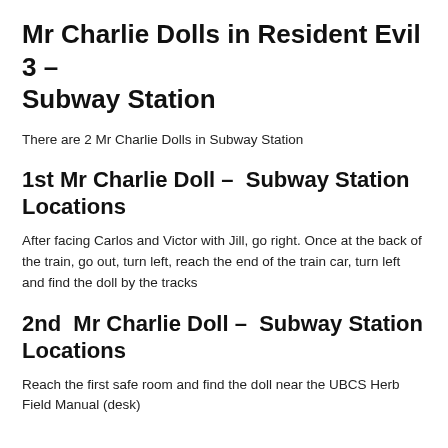Mr Charlie Dolls in Resident Evil 3 – Subway Station
There are 2 Mr Charlie Dolls in Subway Station
1st Mr Charlie Doll –  Subway Station Locations
After facing Carlos and Victor with Jill, go right. Once at the back of the train, go out, turn left, reach the end of the train car, turn left and find the doll by the tracks
2nd  Mr Charlie Doll –  Subway Station Locations
Reach the first safe room and find the doll near the UBCS Herb Field Manual (desk)